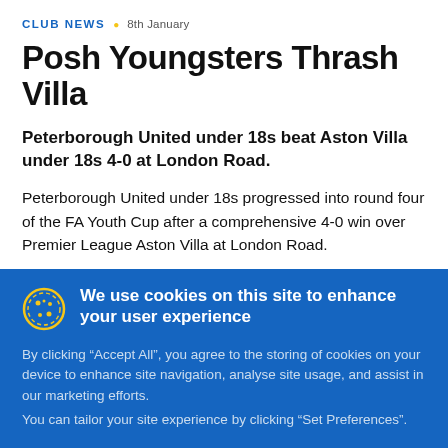CLUB NEWS • 8th January
Posh Youngsters Thrash Villa
Peterborough United under 18s beat Aston Villa under 18s 4-0 at London Road.
Peterborough United under 18s progressed into round four of the FA Youth Cup after a comprehensive 4-0 win over Premier League Aston Villa at London Road.
Goals from Jaanai Gordon, Jevani Brown, Levi Wright and
We use cookies on this site to enhance your user experience
By clicking “Accept All”, you agree to the storing of cookies on your device to enhance site navigation, analyse site usage, and assist in our marketing efforts. You can tailor your site experience by clicking “Set Preferences”.